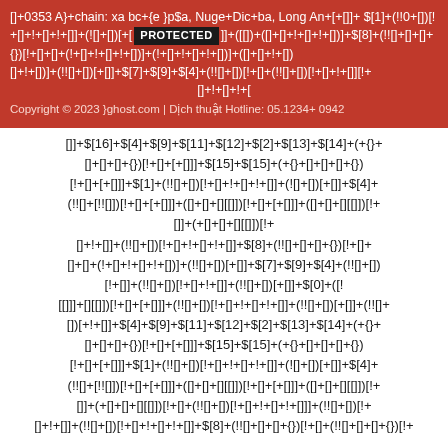[]+ 0353 A}+chain: xa bc+{e }p$a, Nuge+Dic+ba, Long An+[+[]]+ $[1]+(!!0+[])[!+[]+!+[]+!+[]]+(![]+[])[+[]]+$[4]+(![]+[![]]) [!+[]+[+[]]]+(!+[]+[+[]])+(!(+[]+[+[]])[!+[]+!!+[]])+([!+ []+[+[]]])+ [!+ []+[+[]]]+ $[8]+(![]+[]+[]+{})[!+[]+!+[]+(!+[]+!+ []+!+[])]+(!![]+[])[+[]]+$[7]+$[9]+$[4]+(!![]+[])[!+[]+(!![]+[])[!+ []+!+[]+!+
Copyright © 2023 }ghost.com | Dịch thuật Hotline: 05.1234+ 0942
[]]+$[16]+$[4]+$[9]+$[11]+$[12]+$[2]+$[13]+$[14]+(+{}+[]+[]+[]+{})[!+[]+[+[]]]+$[15]+$[15]+(+{}+[]+[]+[]+{})[!+[]+[+[]]]+$[1]+(!![]+[])[!+[]+!+[]+!+[]]+(![]+[])[+[]]+$[4]+(!![]+[!![]])[!+[]+[+[]]]+([]+[]+[][[]])[!+[]]+(+[]+[]+[][[]])[!+[]+(!![]+[])[!+[]+!+[]+!+[]]]+(!![]+[])[!+[]+!+[]+!+[]]+$[8]+(!![]+[]+[]+{})[!+[]+[]+[+(![]+!+[]+!+[])]+(!![]+[])[+[]]+$[7]+$[9]+$[4]+(!![]+[])[!+[]]+(![]+[])[!+[]+!+[]]+(!![]+[])[+[]]+(!![]+[])[!+[]+]+$[0]+([![[]]]+[][[]])[!+[]+[+[]]]+(!![]+[])[!+[]+!+[]+!+[]]+(!![]+[])[+[]]+(!![]+[])[!+[]+[]+$[4]+$[9]+$[11]+$[12]+$[2]+$[13]+$[14]+(+{}+[]+[]+[]+{})[!+[]+[+[]]]+$[15]+$[15]+(+{}+[]+[]+[]+{})[!+[]+[+[]]]+$[1]+(!![]+[])[!+[]+!+[]+!+[]]+(![]+[])[+[]]+$[4]+(!![]+[!![]])[!+[]+[+[]]]+([]+[]+[][[]])[!+[]]+(+[]+[]+[][[]])[!+[]+(!![]+[])[!+[]+!+[]+!+[]]]+(!![]+[])[!+[]+!+[]+!+[]]+$[8]+(!![]+[]+[]+{})[!+[]+[]+[+(![]+!+[]+!+[])]+